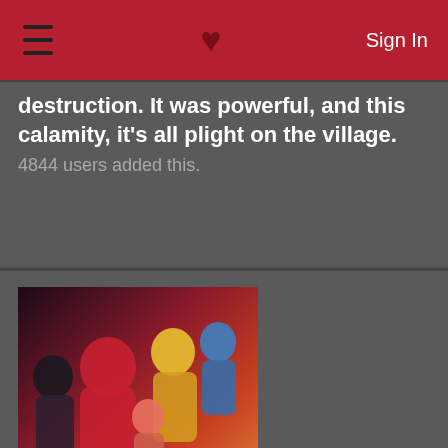Sign In
destruction. It was powerful, and this calamity, it's all plight on the village.
4844 users added this.
[Figure (illustration): Anime cover art for Zombieland Saga showing multiple colorful anime zombie girl characters]
Zombieland Saga [TV]
karebearhook gave it a 10.
A typical morning. The usual music.
521 users added this.
[Figure (illustration): Partial anime cover art visible at the bottom of the page]